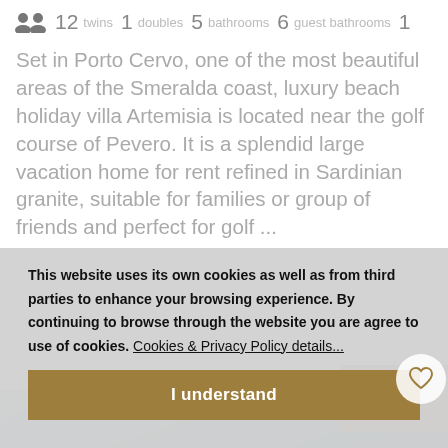12  twins 1  doubles 5  bathrooms 6  guest bathrooms 1
Set in Porto Cervo, one of the most beautiful areas of the Smeralda coast, luxury beach holiday villa Artemisia is located near the golf course of Pevero. It is a splendid large vacation home for rent refined in Sardinian granite, suitable for families or group of friends and perfect for golf ...
This website uses its own cookies as well as from third parties to enhance your browsing experience. By continuing to browse through the website you are agree to use of cookies.  Cookies & Privacy Policy details...
I understand